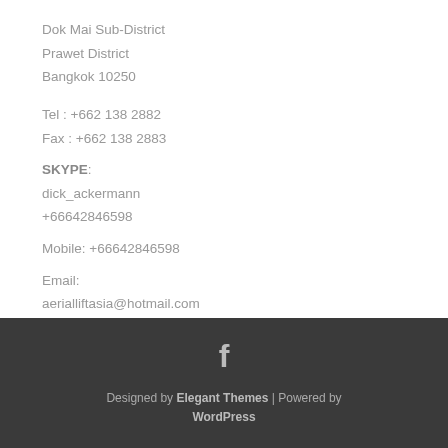Dok Mai Sub-District
Prawet District
Bangkok 10250
Tel : +662 138 2882
Fax : +662 138 2883
SKYPE:
dick_ackermann
+66642846598
Mobile: +66642846598
Email:
aerialliftasia@hotmail.com
[Figure (logo): Facebook icon (letter f) in white on dark background]
Designed by Elegant Themes | Powered by WordPress